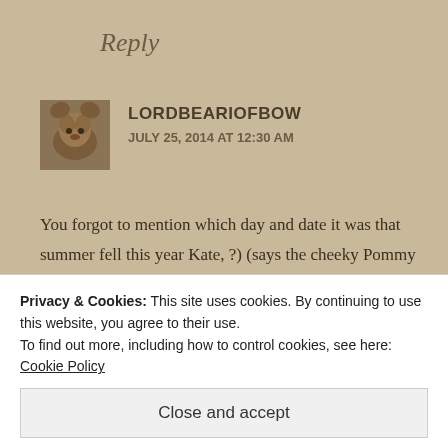Reply
LORDBEARIOFBOW
JULY 25, 2014 AT 12:30 AM
You forgot to mention which day and date it was that summer fell this year Kate, ?) (says the cheeky Pommy living in the sunny Antipodes) 🙂 🙂 🙂
Reply
Privacy & Cookies: This site uses cookies. By continuing to use this website, you agree to their use.
To find out more, including how to control cookies, see here: Cookie Policy
Close and accept